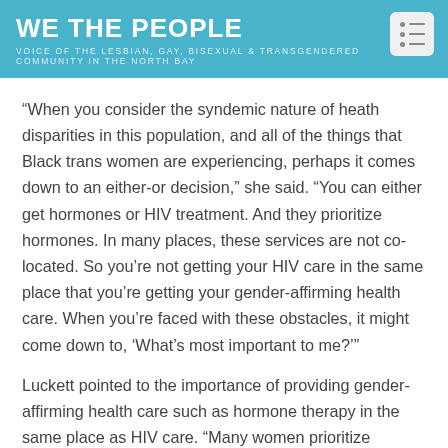WE THE PEOPLE
VOICE OF THE LESBIAN, GAY, BISEXUAL & TRANSGENDERED COMMUNITY IN THE NORTH BAY
“When you consider the syndemic nature of heath disparities in this population, and all of the things that Black trans women are experiencing, perhaps it comes down to an either-or decision,” she said. “You can either get hormones or HIV treatment. And they prioritize hormones. In many places, these services are not co-located. So you’re not getting your HIV care in the same place that you’re getting your gender-affirming health care. When you’re faced with these obstacles, it might come down to, ‘What’s most important to me?’”
Luckett pointed to the importance of providing gender-affirming health care such as hormone therapy in the same place as HIV care. “Many women prioritize hormone